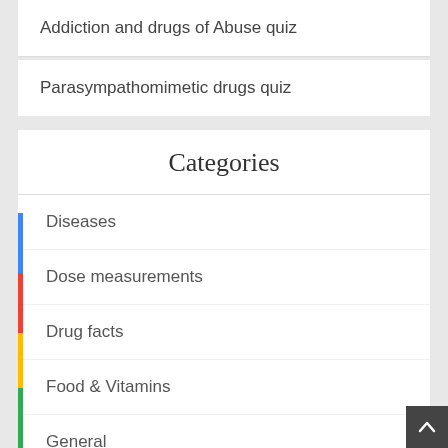Addiction and drugs of Abuse quiz
Parasympathomimetic drugs quiz
Categories
Diseases
Dose measurements
Drug facts
Food & Vitamins
General
How To ?
mnemonics
News & Updates